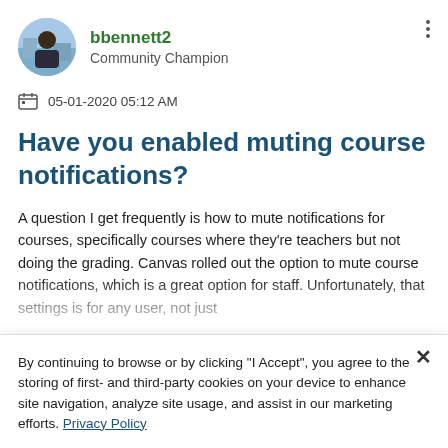bbennett2 — Community Champion
05-01-2020 05:12 AM
Have you enabled muting course notifications?
A question I get frequently is how to mute notifications for courses, specifically courses where they're teachers but not doing the grading. Canvas rolled out the option to mute course notifications, which is a great option for staff. Unfortunately, that settings is for any user, not just
By continuing to browse or by clicking "I Accept", you agree to the storing of first- and third-party cookies on your device to enhance site navigation, analyze site usage, and assist in our marketing efforts. Privacy Policy